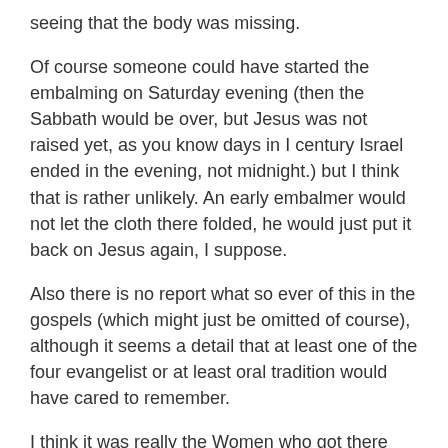seeing that the body was missing.
Of course someone could have started the embalming on Saturday evening (then the Sabbath would be over, but Jesus was not raised yet, as you know days in I century Israel ended in the evening, not midnight.) but I think that is rather unlikely. An early embalmer would not let the cloth there folded, he would just put it back on Jesus again, I suppose.
Also there is no report what so ever of this in the gospels (which might just be omitted of course), although it seems a detail that at least one of the four evangelist or at least oral tradition would have cared to remember.
I think it was really the Women who got there first since Jesus was put in the tomb on Friday after…